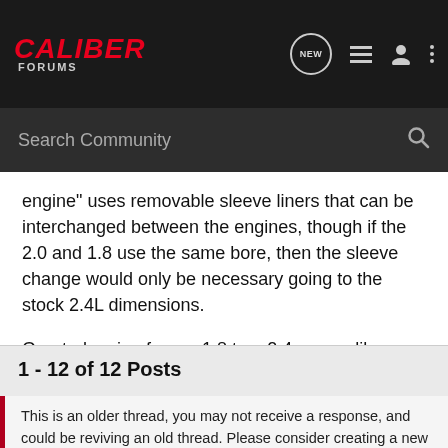CALIBER FORUMS
engine" uses removable sleeve liners that can be interchanged between the engines, though if the 2.0 and 1.8 use the same bore, then the sleeve change would only be necessary going to the stock 2.4L dimensions.
Granted, going from a 1.8 to a 2.4 seems like there's a lot more to swap out besides just the sleeves and the crank...
1 - 12 of 12 Posts
This is an older thread, you may not receive a response, and could be reviving an old thread. Please consider creating a new thread.